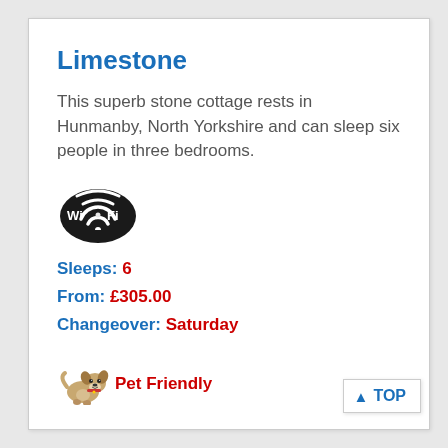Limestone
This superb stone cottage rests in Hunmanby, North Yorkshire and can sleep six people in three bedrooms.
[Figure (logo): Wi-Fi logo icon — black circular badge with 'Wi Fi' text in white and signal arcs]
Sleeps: 6
From: £305.00
Changeover: Saturday
[Figure (illustration): Small cartoon illustration of a dog (French Bulldog)]
Pet Friendly